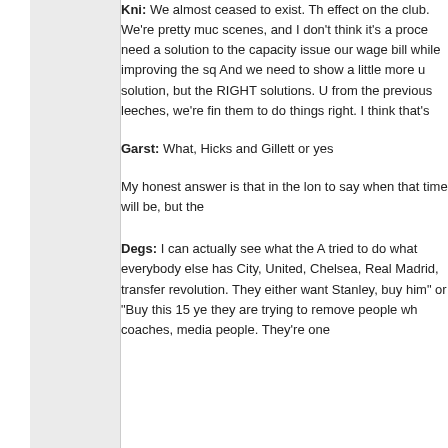Kni: We almost ceased to exist. Th effect on the club. We're pretty muc scenes, and I don't think it's a proce need a solution to the capacity issue our wage bill while improving the sq And we need to show a little more u solution, but the RIGHT solutions. U from the previous leeches, we're fin them to do things right. I think that's
Garst: What, Hicks and Gillett or yes
My honest answer is that in the lon to say when that time will be, but the
Degs: I can actually see what the A tried to do what everybody else has City, United, Chelsea, Real Madrid, transfer revolution. They either want Stanley, buy him" or "Buy this 15 ye they are trying to remove people wh coaches, media people. They're one